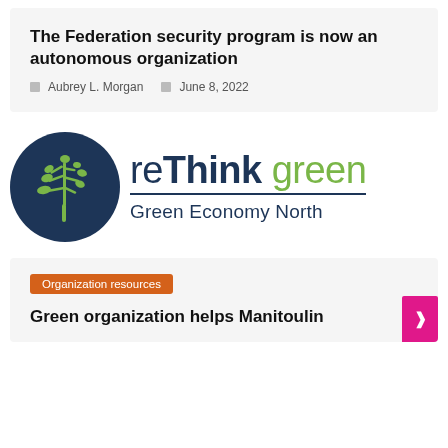The Federation security program is now an autonomous organization
Aubrey L. Morgan   June 8, 2022
[Figure (logo): reThink green – Green Economy North logo: dark navy circle with green plant illustration on the left; 'reThink green' text (navy and green) and 'Green Economy North' subtitle on the right]
Organization resources
Green organization helps Manitoulin